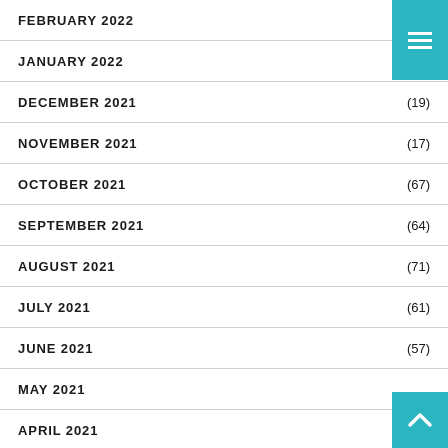FEBRUARY 2022 (17)
JANUARY 2022 (13)
DECEMBER 2021 (19)
NOVEMBER 2021 (17)
OCTOBER 2021 (67)
SEPTEMBER 2021 (64)
AUGUST 2021 (71)
JULY 2021 (61)
JUNE 2021 (57)
MAY 2021
APRIL 2021 (51)